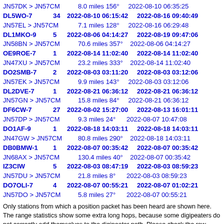JN57DK > JN57CM   8.0 miles 156°   2022-08-10 06:35:25
DL5WO-7   34   2022-08-10 06:15:42 2022-08-16 09:40:49
JN57EL > JN57CM   7.1 miles 128°   2022-08-16 06:29:48
DL1MKO-9   5   2022-08-06 04:14:27 2022-08-19 09:47:06
JN58BN > JN57CM   70.6 miles 357°   2022-08-06 04:14:27
OE9ROE-7   1   2022-08-14 11:02:40 2022-08-14 11:02:40
JN47XU > JN57CM   23.2 miles 333°   2022-08-14 11:02:40
DO2SMB-7   2   2022-08-03 03:11:20 2022-08-03 03:12:06
JN57EK > JN57CM   9.9 miles 143°   2022-08-03 03:12:06
DL2DVE-7   1   2022-08-21 06:36:12 2022-08-21 06:36:12
JN57GN > JN57CM   15.8 miles 84°   2022-08-21 06:36:12
DF6CW-7   27   2022-08-02 15:27:00 2022-08-13 16:01:11
JN57DP > JN57CM   9.3 miles 24°   2022-08-07 10:47:08
DO1AF-9   1   2022-08-18 14:03:11 2022-08-18 14:03:11
JN47GW > JN57CM   80.8 miles 290°   2022-08-18 14:03:11
DB0BMW-1   1   2022-08-07 00:35:42 2022-08-07 00:35:42
JN68AX > JN57CM   130.4 miles 40°   2022-08-07 00:35:42
IZ3CIW   5   2022-08-03 08:47:19 2022-08-03 08:59:23
JN57DU > JN57CM   21.8 miles 8°   2022-08-03 08:59:23
DO7OLI-7   4   2022-08-07 00:55:21 2022-08-07 01:02:21
JN57DO > JN57CM   5.8 miles 27°   2022-08-07 00:55:21
Only stations from which a position packet has been heard are shown here. The range statistics show some extra long hops, because some digipeaters do not correctly add themselves to the digipeater path. Please check the raw packets.